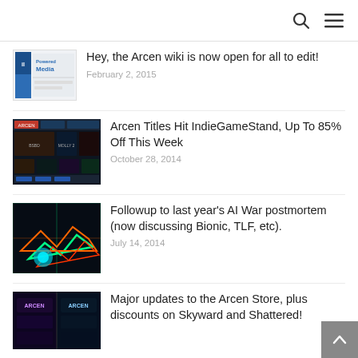Search and Menu icons
[Figure (screenshot): Small thumbnail showing Powered by Media logo/widget screenshot]
Hey, the Arcen wiki is now open for all to edit!
February 2, 2015
[Figure (screenshot): Screenshot of IndieGameStand website showing multiple Arcen game titles]
Arcen Titles Hit IndieGameStand, Up To 85% Off This Week
October 28, 2014
[Figure (screenshot): Dark sci-fi game screenshot with neon orange and green hex patterns, AI War style]
Followup to last year’s AI War postmortem (now discussing Bionic, TLF, etc).
July 14, 2014
[Figure (screenshot): Dark space game screenshot with Arcen Store branding]
Major updates to the Arcen Store, plus discounts on Skyward and Shattered!